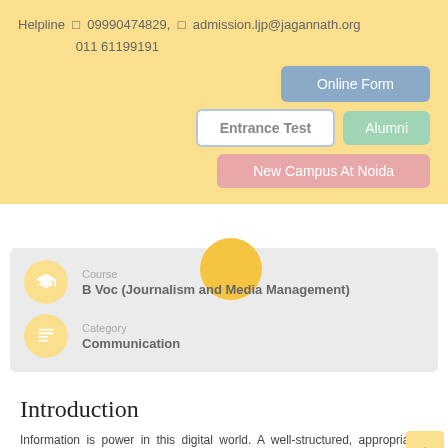Helpline  09990474829,  admission.ljp@jagannath.org 011 61199191
[Figure (screenshot): Navigation buttons: Online Form, Entrance Test, Alumni, New Campus At Noida]
[Figure (infographic): Course card showing Course: B Voc (Journalism and Media Management) and Category: Communication, with yellow circular icons]
Introduction
Information is power in this digital world. A well-structured, appropriately designed and intelligently served information makes headlines in the